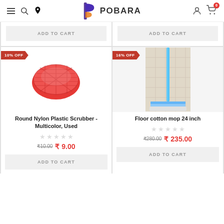POBARA — navigation header with hamburger, search, location, logo, account and cart icons
ADD TO CART (top left product)
ADD TO CART (top right product)
[Figure (photo): Red round nylon plastic scrubber with 10% OFF badge]
[Figure (photo): Floor cotton mop 24 inch with 16% OFF badge]
Round Nylon Plastic Scrubber - Multicolor, Used
Floor cotton mop 24 inch
₹10.00  ₹ 9.00
₹280.00  ₹ 235.00
ADD TO CART
ADD TO CART